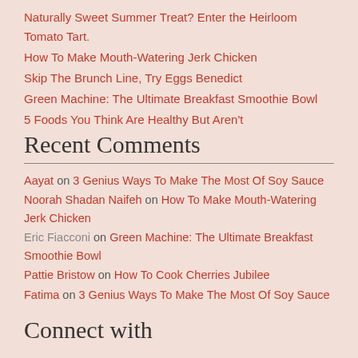Naturally Sweet Summer Treat? Enter the Heirloom Tomato Tart.
How To Make Mouth-Watering Jerk Chicken
Skip The Brunch Line, Try Eggs Benedict
Green Machine: The Ultimate Breakfast Smoothie Bowl
5 Foods You Think Are Healthy But Aren't
Recent Comments
Aayat on 3 Genius Ways To Make The Most Of Soy Sauce
Noorah Shadan Naifeh on How To Make Mouth-Watering Jerk Chicken
Eric Fiacconi on Green Machine: The Ultimate Breakfast Smoothie Bowl
Pattie Bristow on How To Cook Cherries Jubilee
Fatima on 3 Genius Ways To Make The Most Of Soy Sauce
Connect with